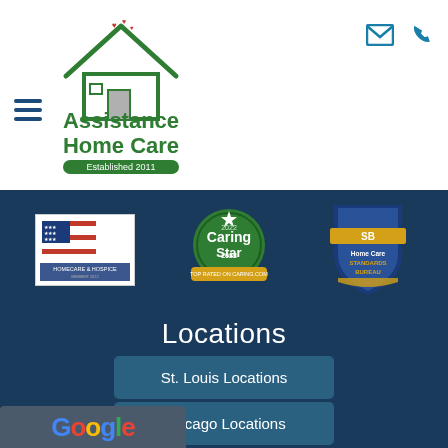[Figure (logo): Assistance Home Care logo with house icon and 'Established 2011' banner, plus hamburger menu icon and email/phone icons]
[Figure (logo): Homecare & Hospice National Association Member 2022 badge with American flag design]
[Figure (logo): Caring Star 2022 Top Rated on Caring.com badge, circular green/gold design]
[Figure (logo): Home Care Standards Bureau shield badge in blue and gold]
Locations
St. Louis Locations
Chicago Locations
[Figure (logo): Google logo, partially visible at bottom]